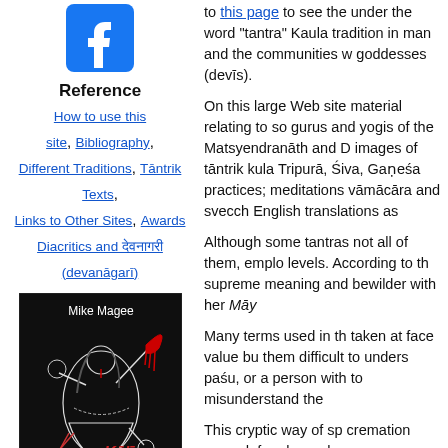[Figure (logo): Facebook logo icon (blue square with white 'f')]
Reference
How to use this site, Bibliography, Different Traditions, Tāntrik Texts, Links to Other Sites, Awards Diacritics and देवनागरी (devanāgarī)
[Figure (illustration): Book cover: 'Kālī Magic' by Mike Magee — black background with illustration of multi-armed Kali goddess holding a scythe and severed head, with red blood drips, text 'Kālī Magic' in red letters]
to this page to see the under the word "tantra" Kaula tradition in man and the communities w goddesses (devīs).
On this large Web site material relating to so gurus and yogis of the Matsyendranāth and D images of tāntrik kula Tripurā, Śiva, Gaṇeśa practices; meditations vāmācāra and svecc English translations as
Although some tantras not all of them, emplo levels. According to th supreme meaning and bewilder with her Māy
Many terms used in th taken at face value bu them difficult to underst paśu, or a person with to misunderstand the
This cryptic way of sp cremation ground, for place where corpses a